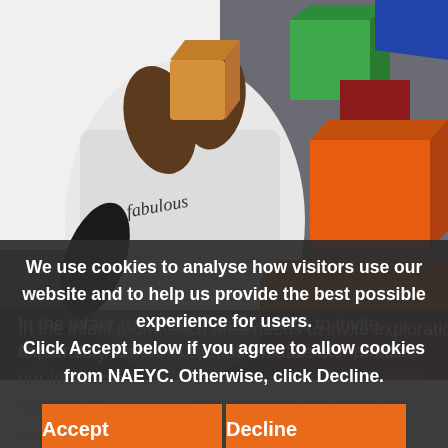[Figure (photo): Close-up photo of a child's hands holding a wooden block, with colorful geometric shape toys (orange, green, red, blue) visible in the background on a gray carpet. The child is wearing a white sweatshirt with cursive text 'fabulous'.]
In the infant room, each area needs to invite exploration for sensory learners. To mathematize our infant classroom, we chose materials for their sensory materials. In the dramatic play area, for example, we offered colorful plastic fruit, mixing bowls in a range of sizes, two types of spoons (some large and
We use cookies to analyse how visitors use our website and to help us provide the best possible experience for users.
Click Accept below if you agree to allow cookies from NAEYC. Otherwise, click Decline.